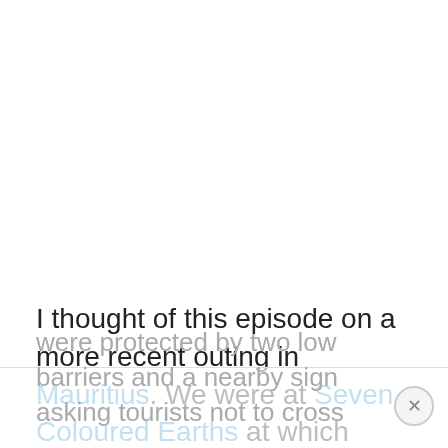I thought of this episode on a more recent outing in Mauritius. We were at Seven Coloured Earths at which there is a small enclosure of giant tortoises. The tortoises
were protected by two low barriers and a nearby sign asking tourists not to cross